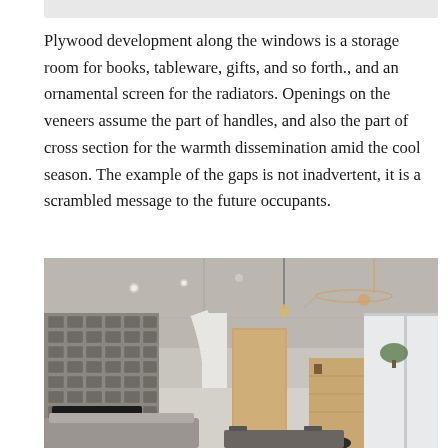Plywood development along the windows is a storage room for books, tableware, gifts, and so forth., and an ornamental screen for the radiators. Openings on the veneers assume the part of handles, and also the part of cross section for the warmth dissemination amid the cool season. The example of the gaps is not inadvertent, it is a scrambled message to the future occupants.
[Figure (photo): Interior photo of a modern apartment showing a concrete ceiling with track lighting, a decorative grid-block wall on the left with a TV mounted below, a white curved partition wall in the center, plywood cabinetry near a large window on the right, and a dining table with chairs in the foreground.]